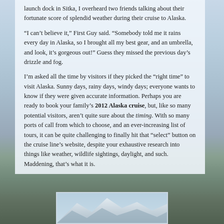launch dock in Sitka, I overheard two friends talking about their fortunate score of splendid weather during their cruise to Alaska.
“I can’t believe it,” First Guy said. “Somebody told me it rains every day in Alaska, so I brought all my best gear, and an umbrella, and look, it’s gorgeous out!” Guess they missed the previous day’s drizzle and fog.
I’m asked all the time by visitors if they picked the “right time” to visit Alaska. Sunny days, rainy days, windy days; everyone wants to know if they were given accurate information. Perhaps you are ready to book your family’s 2012 Alaska cruise, but, like so many potential visitors, aren’t quite sure about the timing. With so many ports of call from which to choose, and an ever-increasing list of tours, it can be quite challenging to finally hit that “select” button on the cruise line’s website, despite your exhaustive research into things like weather, wildlife sightings, daylight, and such. Maddening, that’s what it is.
[Figure (photo): Photograph of mountains and landscape in Alaska, partially visible at bottom of page]